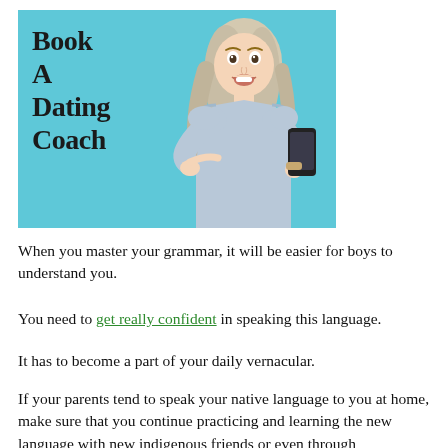[Figure (illustration): Advertisement image with teal/cyan background showing a blonde woman in a light blue sweater pointing at a smartphone with an excited expression. Text on the left reads 'Book A Dating Coach' in large bold serif font.]
When you master your grammar, it will be easier for boys to understand you.
You need to get really confident in speaking this language.
It has to become a part of your daily vernacular.
If your parents tend to speak your native language to you at home, make sure that you continue practicing and learning the new language with new indigenous friends or even through